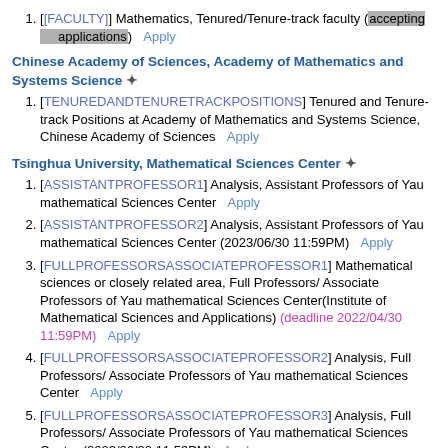1. [FACULTY] Mathematics, Tenured/Tenure-track faculty (accepting applications)  Apply
Chinese Academy of Sciences, Academy of Mathematics and Systems Science ✦
1. [TENUREDANDTENURETRACKPOSITIONS] Tenured and Tenure-track Positions at Academy of Mathematics and Systems Science, Chinese Academy of Sciences  Apply
Tsinghua University, Mathematical Sciences Center ✦
1. [ASSISTANTPROFESSOR1] Analysis, Assistant Professors of Yau mathematical Sciences Center  Apply
2. [ASSISTANTPROFESSOR2] Analysis, Assistant Professors of Yau mathematical Sciences Center (2023/06/30 11:59PM)  Apply
3. [FULLPROFESSORSASSOCIATEPROFESSOR1] Mathematical sciences or closely related area, Full Professors/ Associate Professors of Yau mathematical Sciences Center(Institute of Mathematical Sciences and Applications) (deadline 2022/04/30 11:59PM)  Apply
4. [FULLPROFESSORSASSOCIATEPROFESSOR2] Analysis, Full Professors/ Associate Professors of Yau mathematical Sciences Center  Apply
5. [FULLPROFESSORSASSOCIATEPROFESSOR3] Analysis, Full Professors/ Associate Professors of Yau mathematical Sciences Center (2023/06/30 11:59PM)  Apply